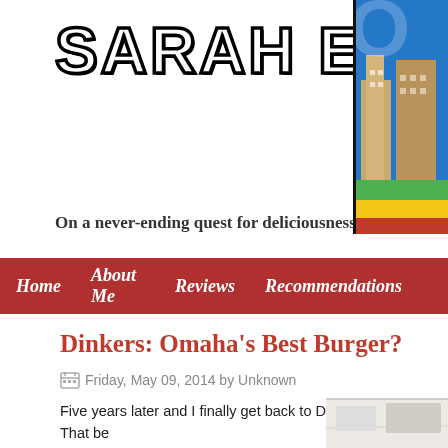SARAH EATS
[Figure (photo): Colorful postcard-style image with letter O visible, partial Omaha postcard graphic, top right corner]
On a never-ending quest for deliciousness...
Home   About Me   Reviews   Recommendations
Dinkers: Omaha's Best Burger?
Friday, May 09, 2014 by Unknown
Five years later and I finally get back to Dinker's to try again. That be previous review still seems to be pretty spot on - except this time I en
[Figure (photo): Partial photo of restaurant interior, bottom right of page, light colored ceiling visible]